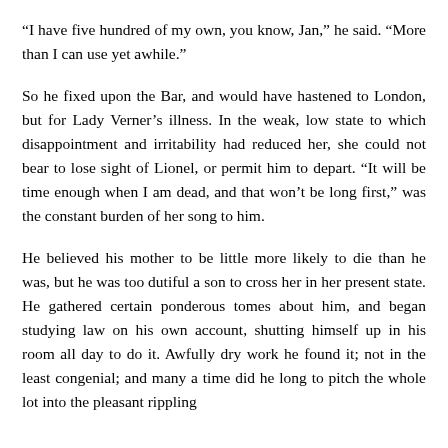“I have five hundred of my own, you know, Jan,” he said. “More than I can use yet awhile.”
So he fixed upon the Bar, and would have hastened to London, but for Lady Verner’s illness. In the weak, low state to which disappointment and irritability had reduced her, she could not bear to lose sight of Lionel, or permit him to depart. “It will be time enough when I am dead, and that won’t be long first,” was the constant burden of her song to him.
He believed his mother to be little more likely to die than he was, but he was too dutiful a son to cross her in her present state. He gathered certain ponderous tomes about him, and began studying law on his own account, shutting himself up in his room all day to do it. Awfully dry work he found it; not in the least congenial; and many a time did he long to pitch the whole lot into the pleasant rippling